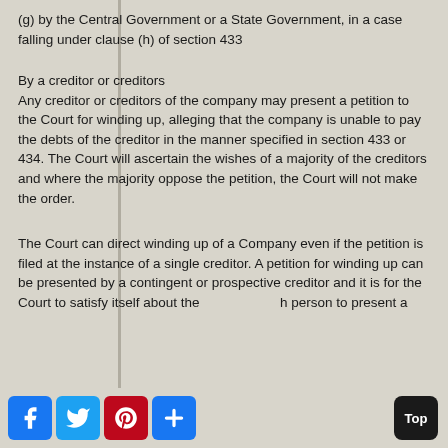(g) by the Central Government or a State Government, in a case falling under clause (h) of section 433
By a creditor or creditors
Any creditor or creditors of the company may present a petition to the Court for winding up, alleging that the company is unable to pay the debts of the creditor in the manner specified in section 433 or 434. The Court will ascertain the wishes of a majority of the creditors and where the majority oppose the petition, the Court will not make the order.
The Court can direct winding up of a Company even if the petition is filed at the instance of a single creditor. A petition for winding up can be presented by a contingent or prospective creditor and it is for the Court to satisfy itself about the eligibility of such person to present a